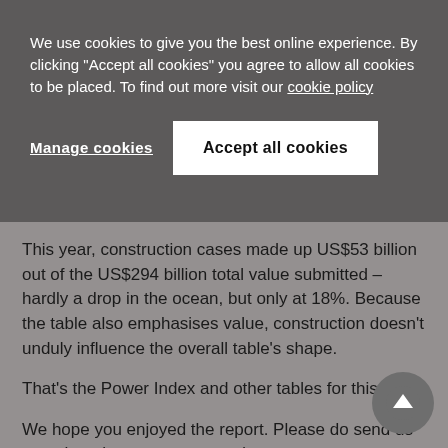We use cookies to give you the best online experience. By clicking "Accept all cookies" you agree to allow all cookies to be placed. To find out more visit our cookie policy
Manage cookies
Accept all cookies
This year, construction cases made up US$53 billion out of the US$294 billion total value submitted – hardly a drop in the ocean, but only at 18%. Because the table also emphasises value, construction doesn't unduly influence the overall table's shape.
That's the Power Index and other tables for this year.
We hope you enjoyed the report. Please do send us your thoughts, comments and